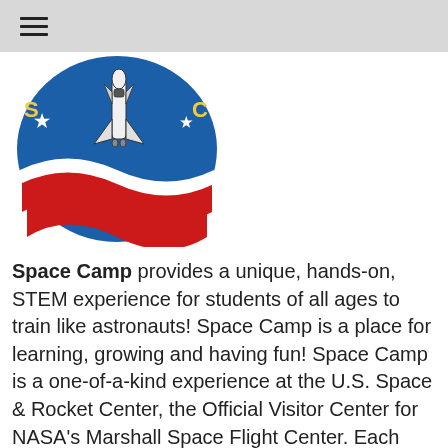☰
[Figure (logo): Space Camp logo: a circular badge featuring a space shuttle descending over red and white wave stripes on a blue background, with stars and stylized letters on the sides.]
Space Camp provides a unique, hands-on, STEM experience for students of all ages to train like astronauts! Space Camp is a place for learning, growing and having fun! Space Camp is a one-of-a-kind experience at the U.S. Space & Rocket Center, the Official Visitor Center for NASA's Marshall Space Flight Center. Each year, trainees of all ages travel from across the United States and 150 countries to participate in our programs. Trainees learn space and flight history, work together as teams, experience simulators, complete simulated space missions, and learn